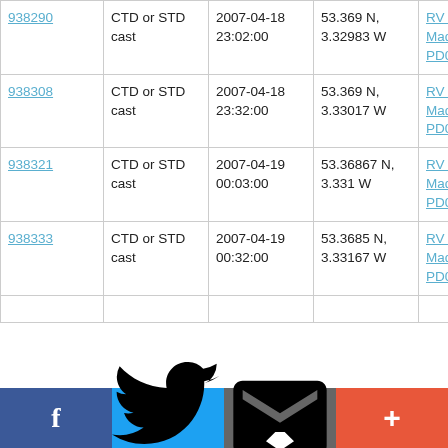| 938290 | CTD or STD cast | 2007-04-18 23:02:00 | 53.369 N, 3.32983 W | RV Prince Madog PD06/07 |
| 938308 | CTD or STD cast | 2007-04-18 23:32:00 | 53.369 N, 3.33017 W | RV Prince Madog PD06/07 |
| 938321 | CTD or STD cast | 2007-04-19 00:03:00 | 53.36867 N, 3.331 W | RV Prince Madog PD06/07 |
| 938333 | CTD or STD cast | 2007-04-19 00:32:00 | 53.3685 N, 3.33167 W | RV Prince Madog PD06/07 |